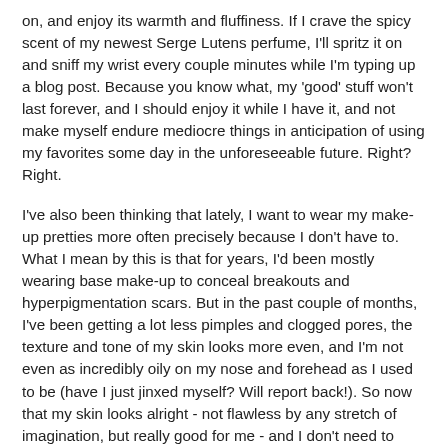on, and enjoy its warmth and fluffiness. If I crave the spicy scent of my newest Serge Lutens perfume, I'll spritz it on and sniff my wrist every couple minutes while I'm typing up a blog post. Because you know what, my 'good' stuff won't last forever, and I should enjoy it while I have it, and not make myself endure mediocre things in anticipation of using my favorites some day in the unforeseeable future. Right? Right.
I've also been thinking that lately, I want to wear my make-up pretties more often precisely because I don't have to. What I mean by this is that for years, I'd been mostly wearing base make-up to conceal breakouts and hyperpigmentation scars. But in the past couple of months, I've been getting a lot less pimples and clogged pores, the texture and tone of my skin looks more even, and I'm not even as incredibly oily on my nose and forehead as I used to be (have I just jinxed myself? Will report back!). So now that my skin looks alright - not flawless by any stretch of imagination, but really good for me - and I don't need to hide as much, I can enjoy make-up just for the fun of it: the beauty of the products themselves, the variety of textures and colors, the tactile pleasure of putting it on, the experimentation with different placements and